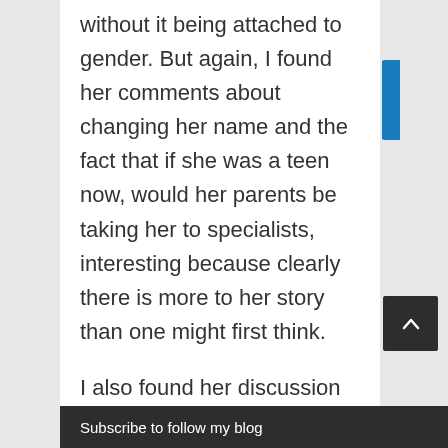without it being attached to gender. But again, I found her comments about changing her name and the fact that if she was a teen now, would her parents be taking her to specialists, interesting because clearly there is more to her story than one might first think.
I also found her discussion on characters and gender really interesting, and that she gives her characters traits that are 'non-stereotypical' – it's
Subscribe to follow my blog